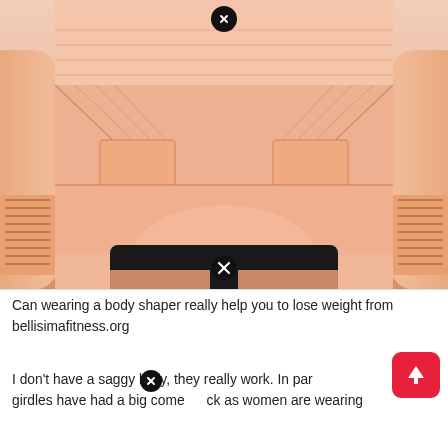[Figure (photo): A woman wearing a nude/beige postpartum body shaper/girdle garment covering the torso and hips, with velcro panels on the sides. Two black circled X close buttons are overlaid on the image — one at the top center and one at the bottom center.]
Can wearing a body shaper really help you to lose weight from bellisimafitness.org
I don't have a saggy belly, they really work. In par girdles have had a big comeback as women are wearing